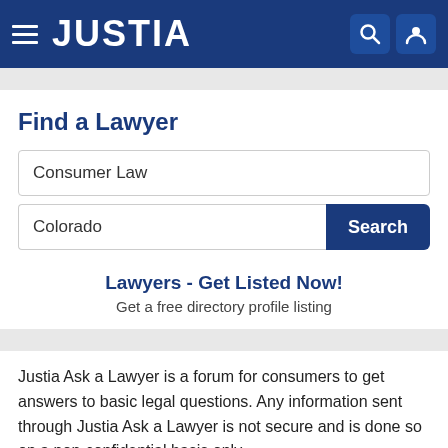JUSTIA
Find a Lawyer
Consumer Law
Colorado
Lawyers - Get Listed Now!
Get a free directory profile listing
Justia Ask a Lawyer is a forum for consumers to get answers to basic legal questions. Any information sent through Justia Ask a Lawyer is not secure and is done so on a non-confidential basis only.